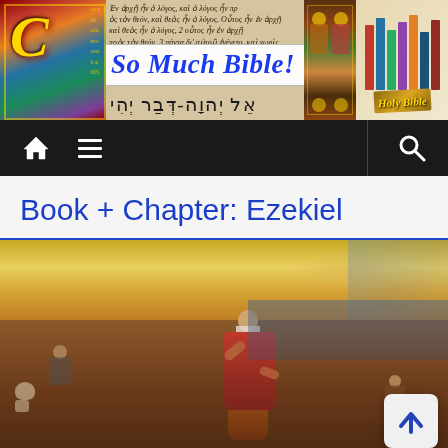[Figure (illustration): Website banner collage combining an illuminated manuscript initial, Greek New Testament text, 'So Much Bible!' site title in blue handwritten font, Hebrew text, medieval illuminated figures, colorful book spines, and a Holy Bible cover]
[Figure (illustration): Navigation bar with home icon, hamburger menu icon, and search icon on dark background]
Book + Chapter: Ezekiel
[Figure (illustration): Classical painting depicting the prophet Ezekiel standing in red robes with raised hand over a landscape of bones and figures, with dramatic sky background. A back-to-top arrow button appears in lower right.]